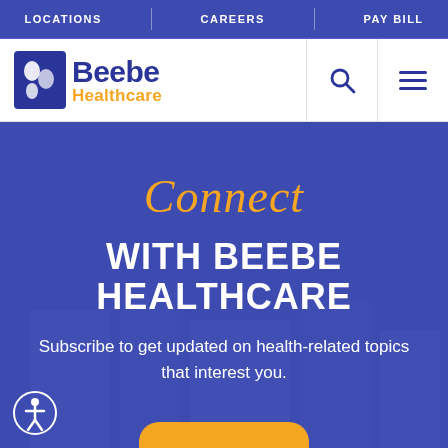LOCATIONS | CAREERS | PAY BILL
[Figure (logo): Beebe Healthcare logo with stylized hands icon, navy blue 'Beebe' text and gold 'Healthcare' text]
Connect WITH BEEBE HEALTHCARE
Subscribe to get updated on health-related topics that interest you.